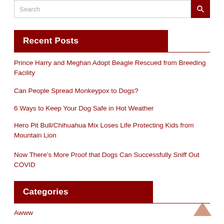Search
Recent Posts
Prince Harry and Meghan Adopt Beagle Rescued from Breeding Facility
Can People Spread Monkeypox to Dogs?
6 Ways to Keep Your Dog Safe in Hot Weather
Hero Pit Bull/Chihuahua Mix Loses Life Protecting Kids from Mountain Lion
Now There’s More Proof that Dogs Can Successfully Sniff Out COVID
Categories
Awww